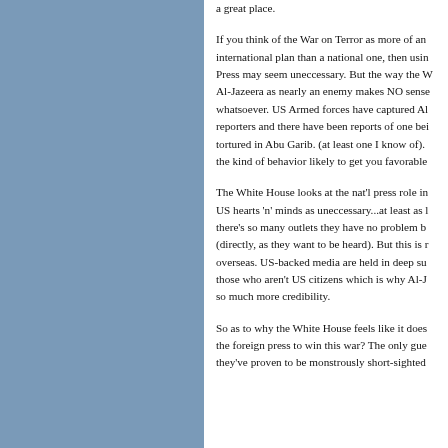a great place.
If you think of the War on Terror as more of an international plan than a national one, then using Press may seem uneccessary. But the way the W Al-Jazeera as nearly an enemy makes NO sense whatsoever. US Armed forces have captured Al reporters and there have been reports of one bei tortured in Abu Garib. (at least one I know of). the kind of behavior likely to get you favorable
The White House looks at the nat'l press role in US hearts 'n' minds as uneccessary...at least as there's so many outlets they have no problem b (directly, as they want to be heard). But this is overseas. US-backed media are held in deep su those who aren't US citizens which is why Al-J so much more credibility.
So as to why the White House feels like it does the foreign press to win this war? The only gue they've proven to be monstrously short-sighted